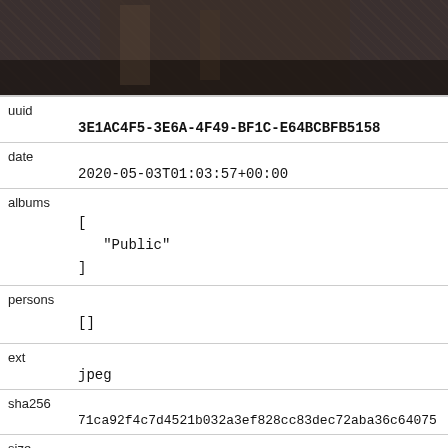[Figure (photo): Partial dark photo of a weathered wooden or stone surface, cropped at top]
uuid
3E1AC4F5-3E6A-4F49-BF1C-E64BCBFB5158
date
2020-05-03T01:03:57+00:00
albums
[
"Public"
]
persons
[]
ext
jpeg
sha256
71ca92f4c7d4521b032a3ef828cc83dec72aba36c64075
size